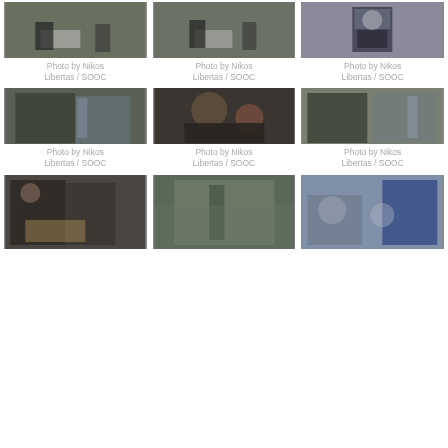[Figure (photo): Two men standing near a table with a decorated cake, outdoors]
Photo by Nikos Libertas / SOOC
[Figure (photo): Two men near a table with a decorated cake, outdoor event]
Photo by Nikos Libertas / SOOC
[Figure (photo): Close-up of a man in a suit speaking at a podium]
Photo by Nikos Libertas / SOOC
[Figure (photo): Two men talking outdoors near flags]
Photo by Nikos Libertas / SOOC
[Figure (photo): Close-up of a man with sunglasses and another person, dark background]
Photo by Nikos Libertas / SOOC
[Figure (photo): Two men shaking hands outdoors near a flag]
Photo by Nikos Libertas / SOOC
[Figure (photo): Two men looking at documents near a decorated table]
[Figure (photo): Person outdoors near greenery and a flag]
[Figure (photo): Two people talking near a blue display board indoors]